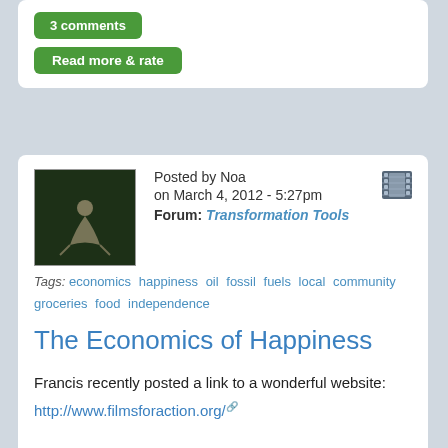3 comments
Read more & rate
Posted by Noa
on March 4, 2012 - 5:27pm
Forum: Transformation Tools
Tags: economics  happiness  oil  fossil fuels  local  community  groceries  food  independence
The Economics of Happiness
Francis recently posted a link to a wonderful website:
http://www.filmsforaction.org/
Here's just one of the amazing films from this site: